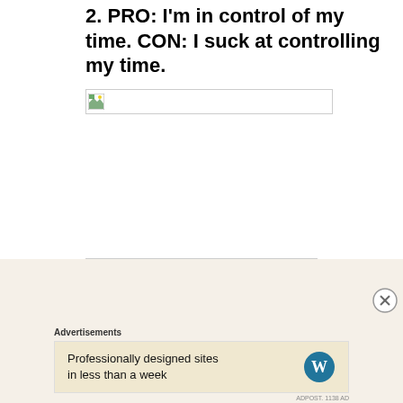2.  PRO: I'm in control of my time.  CON: I suck at controlling my time.
[Figure (photo): Broken/unloaded image placeholder with small thumbnail icon in top-left corner]
Advertisements
Professionally designed sites in less than a week